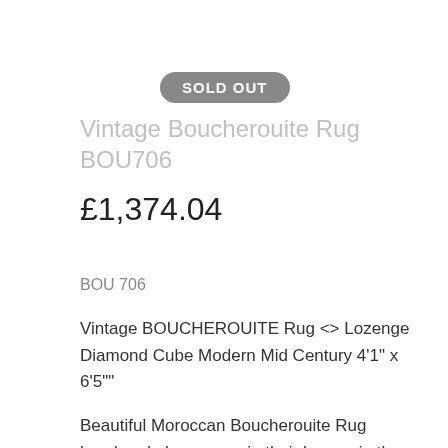SOLD OUT
Vintage Boucherouite Rug BOU706
£1,374.04
BOU 706
Vintage BOUCHEROUITE Rug <> Lozenge Diamond Cube Modern Mid Century 4'1" x 6'5""
Beautiful Moroccan Boucherouite Rug handmade by women in their homes in the